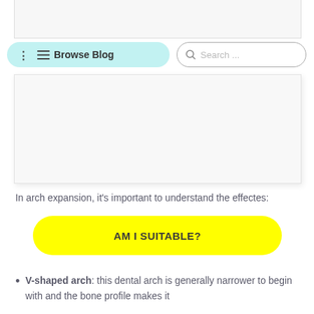[Figure (screenshot): White image area at top of page, partially cut off]
Browse Blog | Search ...
[Figure (screenshot): Large white/light image content area]
In arch expansion, it's important to understand the effect ... es:
[Figure (other): Yellow rounded CTA button reading AM I SUITABLE?]
V-shaped arch: this dental arch is generally narrower to begin with and the bone profile makes it